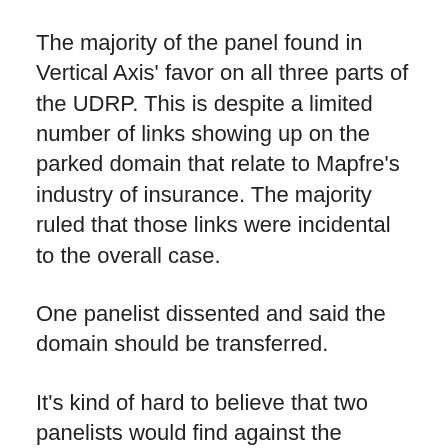The majority of the panel found in Vertical Axis' favor on all three parts of the UDRP. This is despite a limited number of links showing up on the parked domain that relate to Mapfre's industry of insurance. The majority ruled that those links were incidental to the overall case.
One panelist dissented and said the domain should be transferred.
It's kind of hard to believe that two panelists would find against the complainant on all three prongs of the UDRP while another would find in favor of the complainant on all three.
Vertical Axis was represented by ESQwire.com.